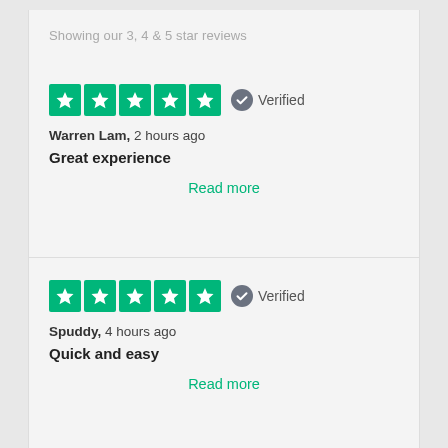Showing our 3, 4 & 5 star reviews
Warren Lam, 2 hours ago — Great experience — Verified — Read more
Spuddy, 4 hours ago — Quick and easy — Verified — Read more
Verified